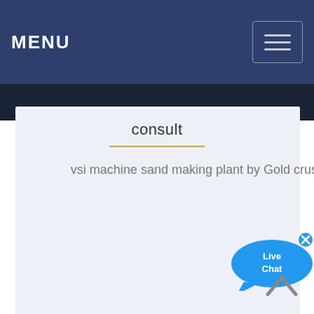MENU
consult
vsi machine sand making plant by Gold crush by metal works,model Gcvsi 100,, also
[Figure (illustration): Live Chat speech bubble icon with blue color and 'Live Chat' text, with an X close button in top-right corner]
[Figure (illustration): Back to top caret/chevron arrow icon pointing upward]